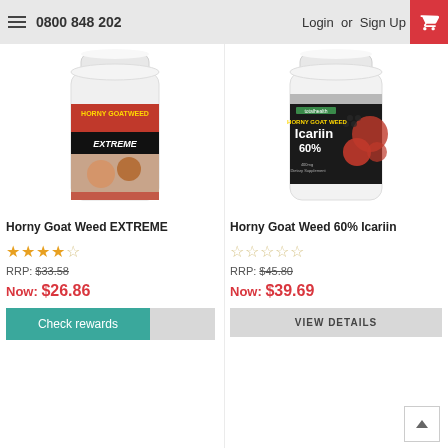0800 848 202  Login or Sign Up
[Figure (photo): White supplement bottle labeled 'Horny Goatweed EXTREME' with a couple on the label]
Horny Goat Weed EXTREME
★★★★☆ RRP: $33.58
Now: $26.86
Check rewards
[Figure (photo): Dark supplement bottle labeled 'Horny Goat Weed Icariin 60%' with honeycomb and red hexagon pattern]
Horny Goat Weed 60% Icariin
☆☆☆☆☆ RRP: $45.80
Now: $39.69
VIEW DETAILS